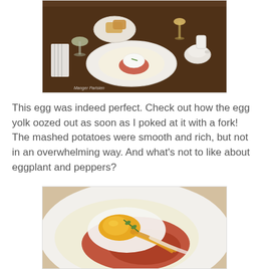[Figure (photo): Top-down photo of a restaurant table with drinks, bread, and a white plate containing mashed potatoes topped with a poached egg and tomato sauce. A watermark reads 'Manger Parisien'.]
This egg was indeed perfect. Check out how the egg yolk oozed out as soon as I poked at it with a fork! The mashed potatoes were smooth and rich, but not in an overwhelming way. And what's not to like about eggplant and peppers?
[Figure (photo): Close-up photo of a poached egg with runny yolk oozing over tomato and eggplant sauce on a white plate with mashed potatoes.]